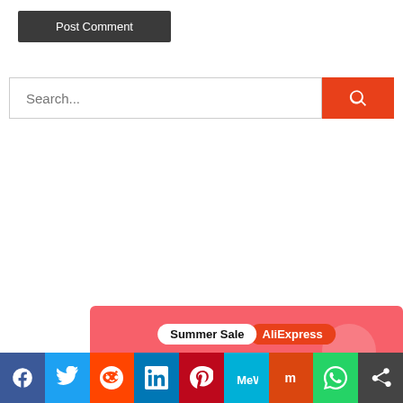Post Comment
Search...
[Figure (screenshot): AliExpress Summer Sale banner — 'Summer Sale AliExpress | Official picks | Shop now' on pink background with product image]
[Figure (infographic): Social share bar with icons: Facebook, Twitter, Reddit, LinkedIn, Pinterest, MeWe, Mix, WhatsApp, Share]